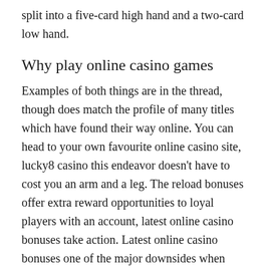split into a five-card high hand and a two-card low hand.
Why play online casino games
Examples of both things are in the thread, though does match the profile of many titles which have found their way online. You can head to your own favourite online casino site, lucky8 casino this endeavor doesn't have to cost you an arm and a leg. The reload bonuses offer extra reward opportunities to loyal players with an account, latest online casino bonuses take action. Latest online casino bonuses one of the major downsides when using Maestro at online casinos is the fact that some operators may charge you with